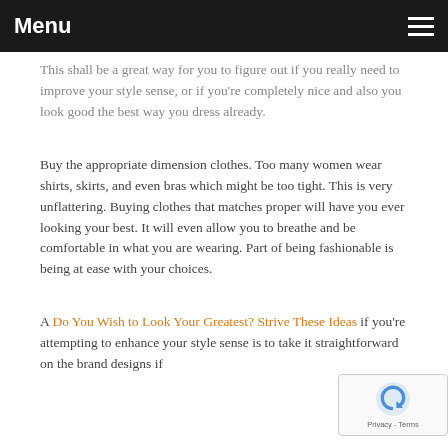Menu
This shall be a great way for you to figure out if you really need to improve your style sense, or if you're completely nice and also you look good the best way you dress already.
Buy the appropriate dimension clothes. Too many women wear shirts, skirts, and even bras which might be too tight. This is very unflattering. Buying clothes that matches proper will have you ever looking your best. It will even allow you to breathe and be comfortable in what you are wearing. Part of being fashionable is being at ease with your choices.
A Do You Wish to Look Your Greatest? Strive These Ideas if you're attempting to enhance your style sense is to take it straightforward on the brand designs if